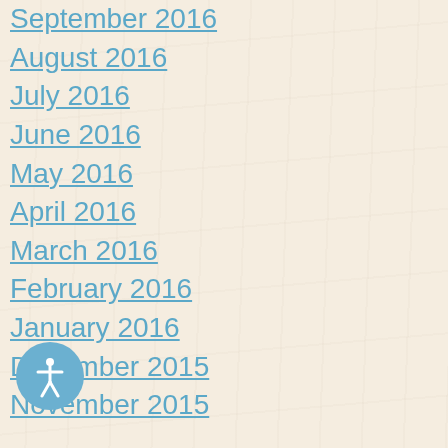September 2016
August 2016
July 2016
June 2016
May 2016
April 2016
March 2016
February 2016
January 2016
December 2015
November 2015
CATEGORIES
Bruxism/TMJ
Clear Aligners
Community
Cosmetic Dentistry
Dental Hygiene
Dental Implants
Dental Technology
Emergency Dentist